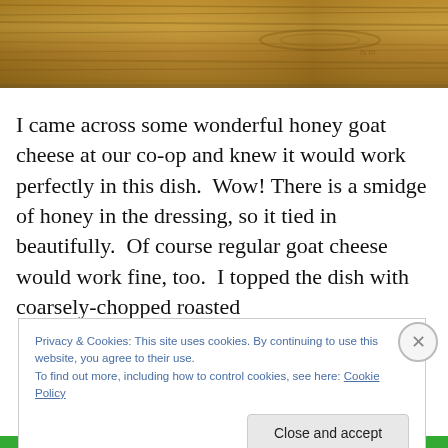[Figure (photo): Close-up photo of a rough wooden surface with wood grain texture, warm brown tones, cropped as a horizontal strip at the top of the page.]
I came across some wonderful honey goat cheese at our co-op and knew it would work perfectly in this dish.  Wow!  There is a smidge of honey in the dressing, so it tied in beautifully.  Of course regular goat cheese would work fine, too.  I topped the dish with coarsely-chopped roasted
Privacy & Cookies: This site uses cookies. By continuing to use this website, you agree to their use.
To find out more, including how to control cookies, see here: Cookie Policy
Close and accept